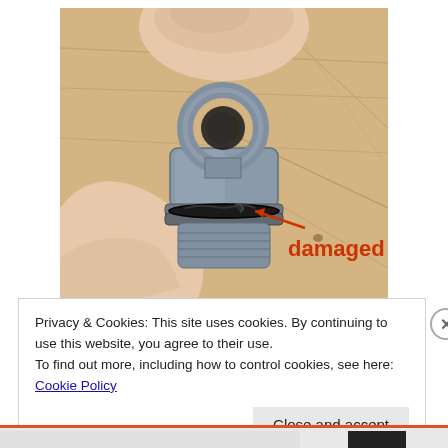[Figure (photo): A hand holding a small metal part (appears to be a drain plug or valve component) with a damaged o-ring/seal visible. The word 'damaged' is annotated in red with an arrow pointing to the damaged o-ring area. Background is a light wood surface.]
Privacy & Cookies: This site uses cookies. By continuing to use this website, you agree to their use.
To find out more, including how to control cookies, see here: Cookie Policy
Close and accept